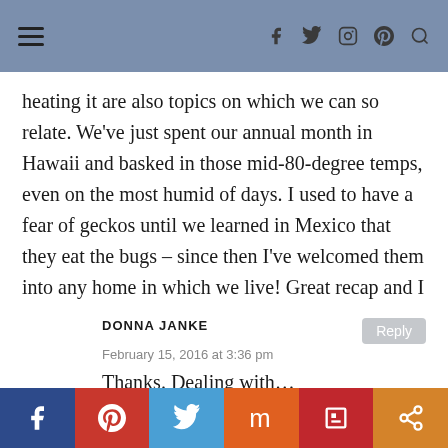Navigation bar with hamburger menu and social icons
heating it are also topics on which we can so relate. We've just spent our annual month in Hawaii and basked in those mid-80-degree temps, even on the most humid of days. I used to have a fear of geckos until we learned in Mexico that they eat the bugs – since then I've welcomed them into any home in which we live! Great recap and I look forward to your next post.
DONNA JANKE
February 15, 2016 at 3:36 pm
Thanks. Dealing with...
Social share bar: Facebook, Pinterest, Twitter, StumbleUpon, Flipboard, Share